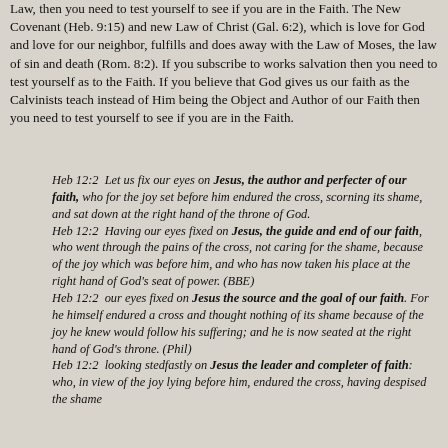Law, then you need to test yourself to see if you are in the Faith. The New Covenant (Heb. 9:15) and new Law of Christ (Gal. 6:2), which is love for God and love for our neighbor, fulfills and does away with the Law of Moses, the law of sin and death (Rom. 8:2). If you subscribe to works salvation then you need to test yourself as to the Faith. If you believe that God gives us our faith as the Calvinists teach instead of Him being the Object and Author of our Faith then you need to test yourself to see if you are in the Faith.
Heb 12:2  Let us fix our eyes on Jesus, the author and perfecter of our faith, who for the joy set before him endured the cross, scorning its shame, and sat down at the right hand of the throne of God. Heb 12:2  Having our eyes fixed on Jesus, the guide and end of our faith, who went through the pains of the cross, not caring for the shame, because of the joy which was before him, and who has now taken his place at the right hand of God's seat of power. (BBE) Heb 12:2  our eyes fixed on Jesus the source and the goal of our faith. For he himself endured a cross and thought nothing of its shame because of the joy he knew would follow his suffering; and he is now seated at the right hand of God's throne. (Phil) Heb 12:2  looking stedfastly on Jesus the leader and completer of faith: who, in view of the joy lying before him, endured the cross, having despised the shame